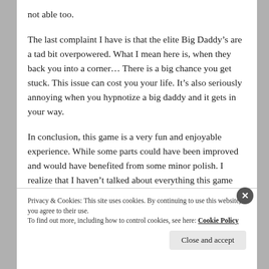not able too.
The last complaint I have is that the elite Big Daddy’s are a tad bit overpowered. What I mean here is, when they back you into a corner… There is a big chance you get stuck. This issue can cost you your life. It’s also seriously annoying when you hypnotize a big daddy and it gets in your way.
In conclusion, this game is a very fun and enjoyable experience. While some parts could have been improved and would have benefited from some minor polish. I realize that I haven’t talked about everything this game
Privacy & Cookies: This site uses cookies. By continuing to use this website, you agree to their use.
To find out more, including how to control cookies, see here: Cookie Policy
Close and accept